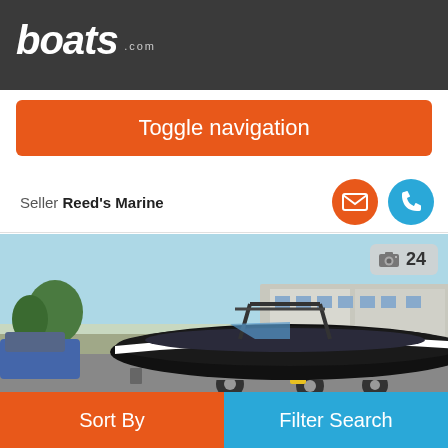boats.com
Toggle navigation
Seller Reed's Marine
[Figure (photo): Black speedboat on trailer parked outside a marine dealership building, with wake tower and blue sky background. Photo count badge showing camera icon and 24.]
Sort By
Filter Search